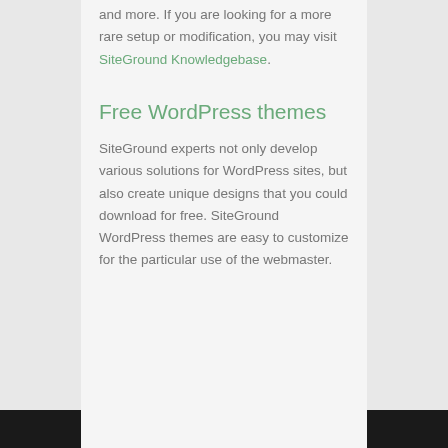and more. If you are looking for a more rare setup or modification, you may visit SiteGround Knowledgebase.
Free WordPress themes
SiteGround experts not only develop various solutions for WordPress sites, but also create unique designs that you could download for free. SiteGround WordPress themes are easy to customize for the particular use of the webmaster.